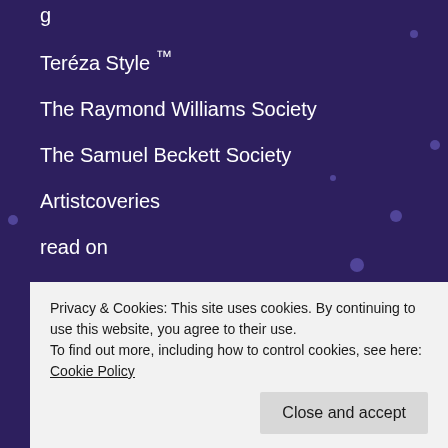Teréza Style ™
The Raymond Williams Society
The Samuel Beckett Society
Artistcoveries
read on
Mywayoflivinglife
life quotes
Healthy Tipsy Shopping
Freebies
Privacy & Cookies: This site uses cookies. By continuing to use this website, you agree to their use.
To find out more, including how to control cookies, see here: Cookie Policy
Close and accept